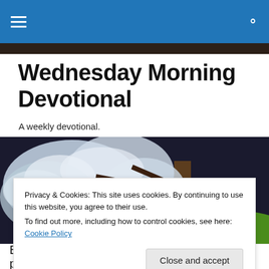Wednesday Morning Devotional — navigation bar with hamburger menu and search icon
Wednesday Morning Devotional
A weekly devotional.
[Figure (photo): A spring flowering cherry blossom tree with white flowers against a dark background, with green grass visible on the right side.]
Privacy & Cookies: This site uses cookies. By continuing to use this website, you agree to their use.
To find out more, including how to control cookies, see here: Cookie Policy
Close and accept
But you, man of God, flee from all this, and pursue